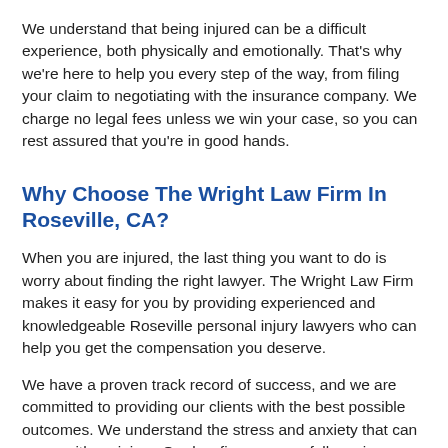We understand that being injured can be a difficult experience, both physically and emotionally. That's why we're here to help you every step of the way, from filing your claim to negotiating with the insurance company. We charge no legal fees unless we win your case, so you can rest assured that you're in good hands.
Why Choose The Wright Law Firm In Roseville, CA?
When you are injured, the last thing you want to do is worry about finding the right lawyer. The Wright Law Firm makes it easy for you by providing experienced and knowledgeable Roseville personal injury lawyers who can help you get the compensation you deserve.
We have a proven track record of success, and we are committed to providing our clients with the best possible outcomes. We understand the stress and anxiety that can come with an injury. Our law firm can carefully review your case to ensure all facts are known about the accident or